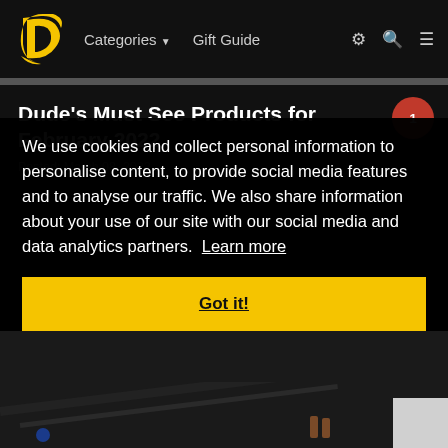Categories  Gift Guide
Dude's Must See Products for February 2022
Posted: March 08, 2022
We use cookies and collect personal information to personalise content, to provide social media features and to analyse our traffic. We also share information about your use of our site with our social media and data analytics partners. Learn more
Got it!
[Figure (photo): Dark background image showing what appears to be a hockey stick or similar sports equipment on a gray surface, with small figure in background]